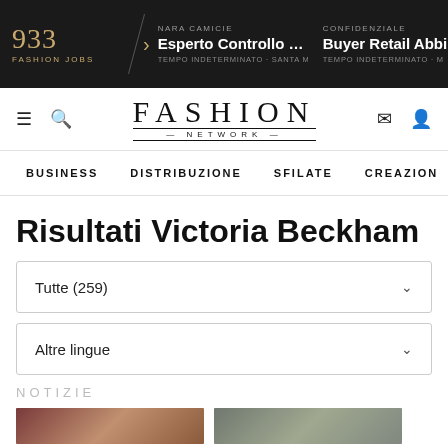933 FASHION JOBS | NARA CAMICIE — Esperto Controllo Qua... TEMPO INDETERMINATO - SANTA MAR... | CONFIDENZIALE — Buyer Retail Abbi... TEMPO INDETERMINATO - M...
[Figure (logo): Fashion Network logo with navigation icons (menu, search, email, profile)]
BUSINESS  DISTRIBUZIONE  SFILATE  CREAZION >
Risultati Victoria Beckham
Tutte (259)
Altre lingue
NOTIZIE